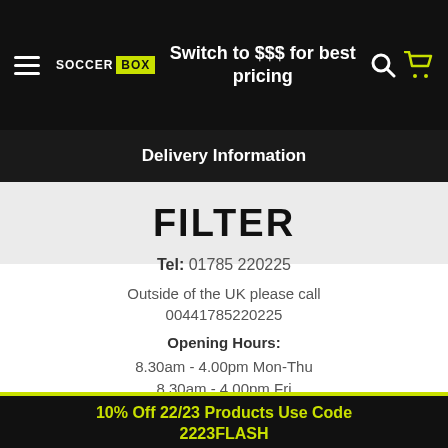SOCCER BOX | Switch to $$$ for best pricing
Delivery Information
FILTER
Tel: 01785 220225
Outside of the UK please call 00441785220225
Opening Hours:
8.30am - 4.00pm Mon-Thu
8.30am - 4.00pm Fri
10% Off 22/23 Products Use Code 2223FLASH